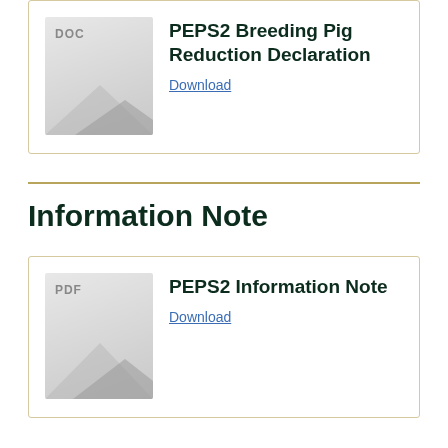[Figure (illustration): DOC file icon with grey document graphic]
PEPS2 Breeding Pig Reduction Declaration
Download
Information Note
[Figure (illustration): PDF file icon with grey document graphic]
PEPS2 Information Note
Download